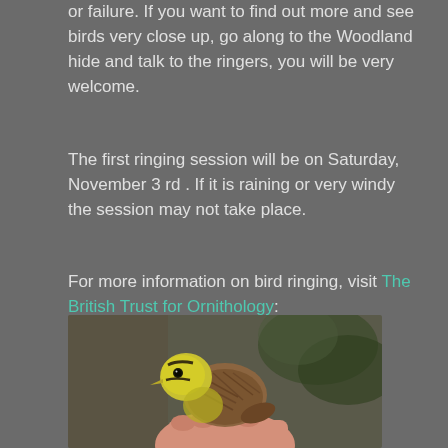or failure. If you want to find out more and see birds very close up, go along to the Woodland hide and talk to the ringers, you will be very welcome.
The first ringing session will be on Saturday, November 3 rd . If it is raining or very windy the session may not take place.
For more information on bird ringing, visit The British Trust for Ornithology:
[Figure (photo): A small bird with yellow and brown plumage being held in a person's hand, photographed close-up outdoors with blurred background vegetation.]